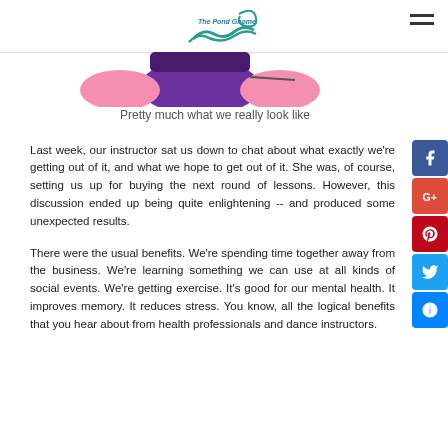The Pond Gnome
[Figure (illustration): Partial image of colorful illustration showing purple and pink shapes, likely cartoon gnome figures]
Pretty much what we really look like
Last week, our instructor sat us down to chat about what exactly we're getting out of it, and what we hope to get out of it. She was, of course, setting us up for buying the next round of lessons. However, this discussion ended up being quite enlightening -- and produced some unexpected results.
There were the usual benefits. We're spending time together away from the business. We're learning something we can use at all kinds of social events. We're getting exercise. It's good for our mental health. It improves memory. It reduces stress. You know, all the logical benefits that you hear about from health professionals and dance instructors.